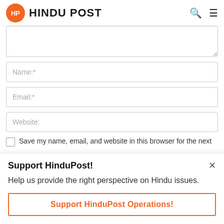HP HINDU POST
[Figure (other): Textarea form field (partially visible, empty)]
[Figure (other): Name:* text input field]
[Figure (other): Email:* text input field]
[Figure (other): Website: text input field]
Save my name, email, and website in this browser for the next
Support HinduPost!
Help us provide the right perspective on Hindu issues.
Support HinduPost Operations!